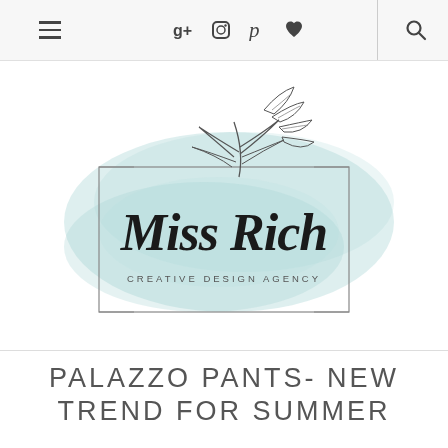Navigation bar with hamburger menu, social icons (g+, instagram, pinterest, heart, search)
[Figure (logo): Miss Rich Creative Design Agency logo with watercolor teal background, floral botanical line art, decorative rectangle border, script text 'Miss Rich' and subtitle 'CREATIVE DESIGN AGENCY']
PALAZZO PANTS- NEW TREND FOR SUMMER